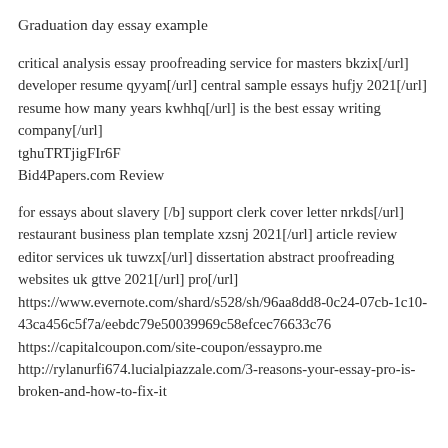Graduation day essay example
critical analysis essay proofreading service for masters bkzix[/url] developer resume qyyam[/url] central sample essays hufjy 2021[/url] resume how many years kwhhq[/url] is the best essay writing company[/url]
tghuTRTjigFIr6F
Bid4Papers.com Review
for essays about slavery [/b] support clerk cover letter nrkds[/url] restaurant business plan template xzsnj 2021[/url] article review editor services uk tuwzx[/url] dissertation abstract proofreading websites uk gttve 2021[/url] pro[/url]
https://www.evernote.com/shard/s528/sh/96aa8dd8-0c24-07cb-1c10-43ca456c5f7a/eebdc79e50039969c58efcec76633c76
https://capitalcoupon.com/site-coupon/essaypro.me
http://rylanurfi674.lucialpiazzale.com/3-reasons-your-essay-pro-is-broken-and-how-to-fix-it